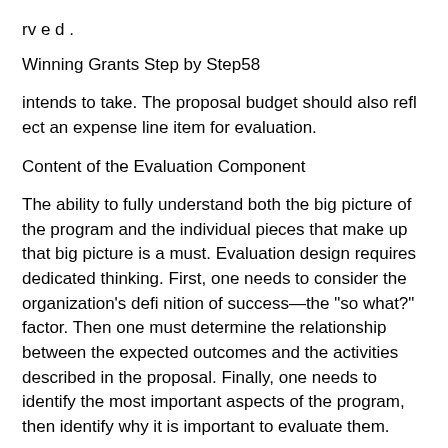rv e d .
Winning Grants Step by Step58
intends to take. The proposal budget should also refl ect an expense line item for evaluation.
Content of the Evaluation Component
The ability to fully understand both the big picture of the program and the individual pieces that make up that big picture is a must. Evaluation design requires dedicated thinking. First, one needs to consider the organization’s defi nition of success—the “so what?” factor. Then one must determine the relationship between the expected outcomes and the activities described in the proposal. Finally, one needs to identify the most important aspects of the program, then identify why it is important to evaluate them.
Organizations conduct evaluations primarily to accomplish six specifi c goals:
Find out whether or not the hypothesis was correct: Did what the organization originally propose actually do what the